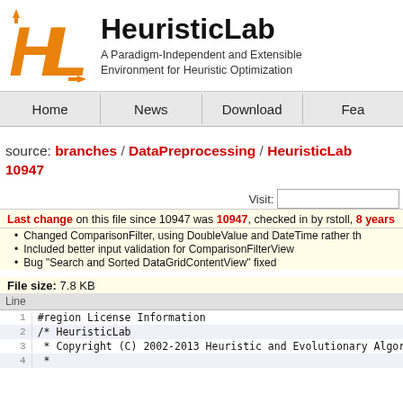[Figure (logo): HeuristicLab logo - orange HL letters with arrow]
HeuristicLab
A Paradigm-Independent and Extensible Environment for Heuristic Optimization
Home | News | Download | Fea
source: branches / DataPreprocessing / HeuristicLab 10947
Visit:
Last change on this file since 10947 was 10947, checked in by rstoll, 8 years
Changed ComparisonFilter, using DoubleValue and DateTime rather th
Included better input validation for ComparisonFilterView
Bug "Search and Sorted DataGridContentView" fixed
File size: 7.8 KB
| Line |  |
| --- | --- |
| 1 | #region License Information |
| 2 | /* HeuristicLab |
| 3 |  * Copyright (C) 2002-2013 Heuristic and Evolutionary Algori |
| 4 |  * |